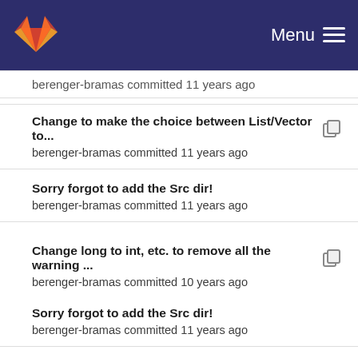Menu
berenger-bramas committed 11 years ago
Change to make the choice between List/Vector to...
berenger-bramas committed 11 years ago
Sorry forgot to add the Src dir!
berenger-bramas committed 11 years ago
Change long to int, etc. to remove all the warning ...
berenger-bramas committed 10 years ago
Sorry forgot to add the Src dir!
berenger-bramas committed 11 years ago
Big commit.
berenger-bramas committed 11 years ago
Change assert into fassert because some macro d...
berenger-bramas committed 11 years ago
Sorry forgot to add the Src dir!
berenger-bramas committed 11 years ago
Change long to int, etc. to remove all the warning ...